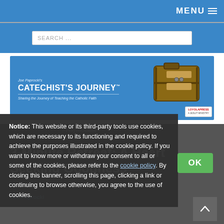MENU
SEARCH ...
[Figure (illustration): Joe Paprocki's Catechist's Journey banner — blue background with suitcase image and Loyola Press logo. Text: Joe Paprocki's, CATECHIST'S JOURNEY™, Sharing the Journey of Teaching the Catholic Faith]
Notice: This website or its third-party tools use cookies, which are necessary to its functioning and required to achieve the purposes illustrated in the cookie policy. If you want to know more or withdraw your consent to all or some of the cookies, please refer to the cookie policy. By closing this banner, scrolling this page, clicking a link or continuing to browse otherwise, you agree to the use of cookies.
OK
Prayer/Guided
3-Minute Retreat: A Heart Seeking Goodness
Joe Paprocki